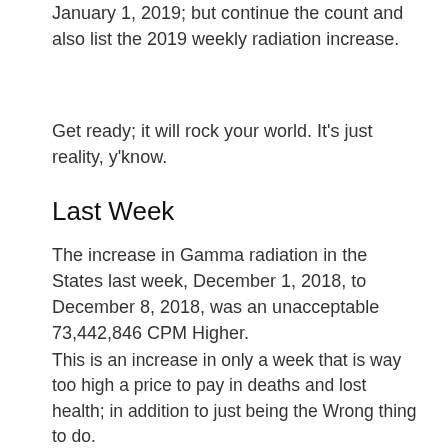January 1, 2019; but continue the count and also list the 2019 weekly radiation increase.
Get ready; it will rock your world. It's just reality, y'know.
Last Week
The increase in Gamma radiation in the States last week, December 1, 2018, to December 8, 2018, was an unacceptable 73,442,846 CPM Higher.
This is an increase in only a week that is way too high a price to pay in deaths and lost health; in addition to just being the Wrong thing to do.
See NEW DATA in the Colorado Springs, Colorado Radiation History 2006 – 2017, and the 2018 Annualized Rate of Gamma Rad.